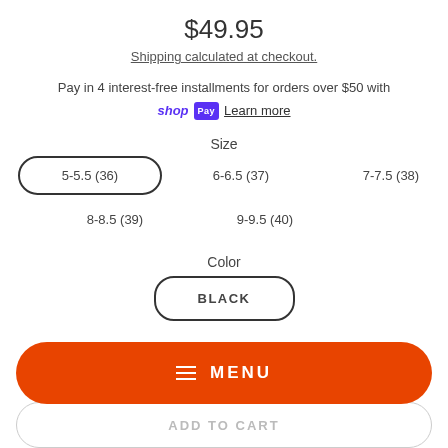$49.95
Shipping calculated at checkout.
Pay in 4 interest-free installments for orders over $50 with shop Pay Learn more
Size
5-5.5 (36) [selected]
6-6.5 (37)
7-7.5 (38)
8-8.5 (39)
9-9.5 (40)
Color
BLACK [selected]
MENU
ADD TO CART